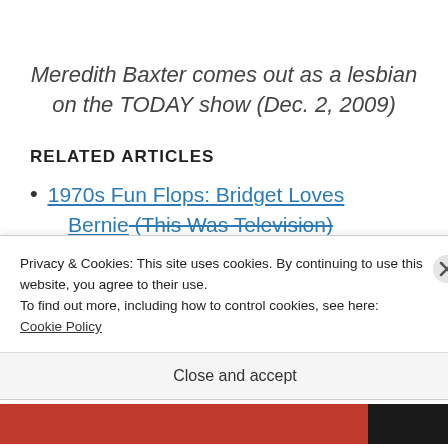Meredith Baxter comes out as a lesbian on the TODAY show (Dec. 2, 2009)
RELATED ARTICLES
1970s Fun Flops: Bridget Loves Bernie (This Was Television)
Privacy & Cookies: This site uses cookies. By continuing to use this website, you agree to their use.
To find out more, including how to control cookies, see here: Cookie Policy
Close and accept